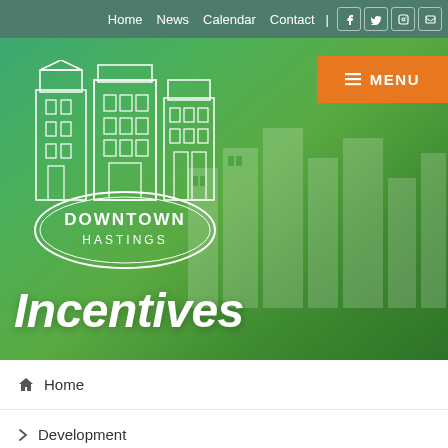Home  News  Calendar  Contact  |  [Facebook] [Twitter] [Pinterest] [Image]
[Figure (logo): Downtown Hastings logo — white building illustration with oval containing text DOWNTOWN HASTINGS]
[Figure (other): Orange MENU button with hamburger icon in top right of hero area]
Incentives
Home
Development
Incentives